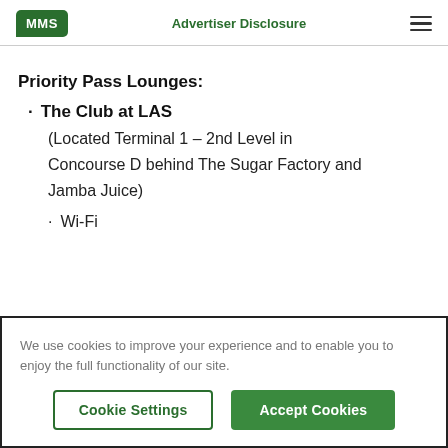MMS | Advertiser Disclosure
Priority Pass Lounges:
The Club at LAS
(Located Terminal 1 – 2nd Level in Concourse D behind The Sugar Factory and Jamba Juice)
Wi-Fi
We use cookies to improve your experience and to enable you to enjoy the full functionality of our site.